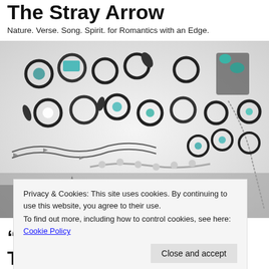The Stray Arrow
Nature. Verse. Song. Spirit. for Romantics with an Edge.
[Figure (photo): A flat lay photograph of numerous silver and turquoise jewelry pieces including rings with leaf and stone details, charm bracelets with arrow and feather charms, and necklace chains spread across a white surface.]
Privacy & Cookies: This site uses cookies. By continuing to use this website, you agree to their use.
To find out more, including how to control cookies, see here: Cookie Policy
“The Wind-God Frowns In The